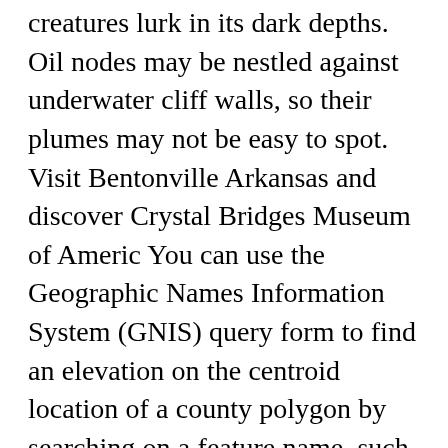creatures lurk in its dark depths. Oil nodes may be nestled against underwater cliff walls, so their plumes may not be easy to spot. Visit Bentonville Arkansas and discover Crystal Bridges Museum of Americ You can use the Geographic Names Information System (GNIS) query form to find an elevation on the centroid location of a county polygon by searching on a feature name, such as "County", with the "Civil" feature class. Highest peak: Gannett Peak Elevation: 13,809 ft. Coordinates: 43.2° N, 109.7° W 6. The Maw 5. To convert the Lat/Long map coordinates to UE coordinates, simply subtract the shift value, and multiply by the right multiplier from the following table. Tell students that if